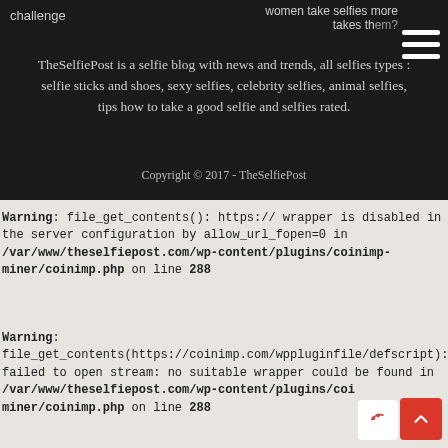[Figure (screenshot): Dark banner area of TheSelfiePost website with navigation text 'challenge' on left and 'takes them?' on right, with hamburger menu icon]
TheSelfiePost is a selfie blog with news and trends, all selfies types : selfie sticks and shoes, sexy selfies, celebrity selfies, animal selfies, tips how to take a good selfie and selfies rated.
Copyright © 2017 - TheSelfiePost
Warning: file_get_contents(): https:// wrapper is disabled in the server configuration by allow_url_fopen=0 in /var/www/theselfiepost.com/wp-content/plugins/coinimp-miner/coinimp.php on line 288
Warning: file_get_contents(https://coinimp.com/wppluginfile/defscript): failed to open stream: no suitable wrapper could be found in /var/www/theselfiepost.com/wp-content/plugins/coinimp-miner/coinimp.php on line 288